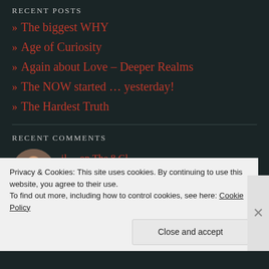RECENT POSTS
» The biggest WHY
» Age of Curiosity
» Again about Love – Deeper Realms
» The NOW started … yesterday!
» The Hardest Truth
RECENT COMMENTS
Privacy & Cookies: This site uses cookies. By continuing to use this website, you agree to their use.
To find out more, including how to control cookies, see here: Cookie Policy